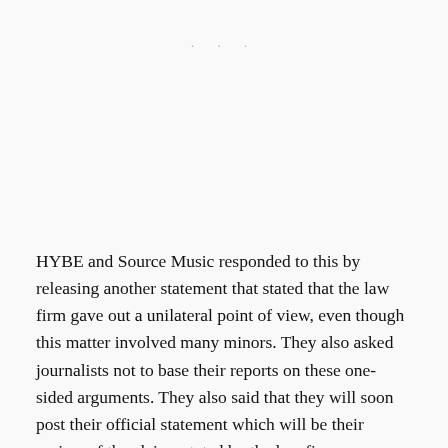• • •
HYBE and Source Music responded to this by releasing another statement that stated that the law firm gave out a unilateral point of view, even though this matter involved many minors. They also asked journalists not to base their reports on these one-sided arguments. They also said that they will soon post their official statement which will be their review of the claims stated by the law firm.